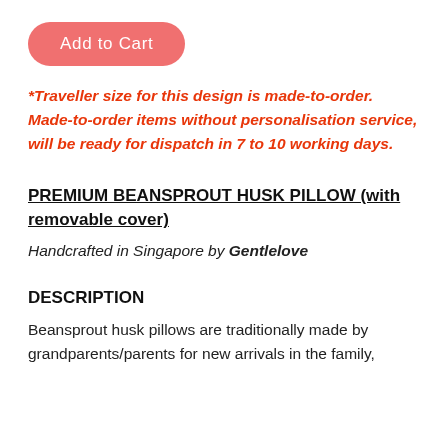Add to Cart
*Traveller size for this design is made-to-order. Made-to-order items without personalisation service, will be ready for dispatch in 7 to 10 working days.
PREMIUM BEANSPROUT HUSK PILLOW (with removable cover)
Handcrafted in Singapore by Gentlelove
DESCRIPTION
Beansprout husk pillows are traditionally made by grandparents/parents for new arrivals in the family,